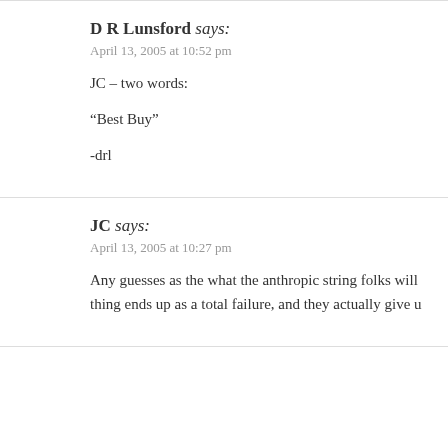D R Lunsford says:
April 13, 2005 at 10:52 pm
JC – two words:
“Best Buy”
-drl
JC says:
April 13, 2005 at 10:27 pm
Any guesses as the what the anthropic string folks will thing ends up as a total failure, and they actually give u